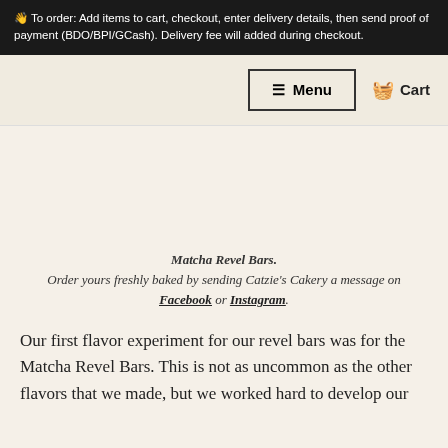👋 To order: Add items to cart, checkout, enter delivery details, then send proof of payment (BDO/BPI/GCash). Delivery fee will added during checkout.
≡ Menu   🧺 Cart
Matcha Revel Bars. Order yours freshly baked by sending Catzie's Cakery a message on Facebook or Instagram.
Our first flavor experiment for our revel bars was for the Matcha Revel Bars. This is not as uncommon as the other flavors that we made, but we worked hard to develop our